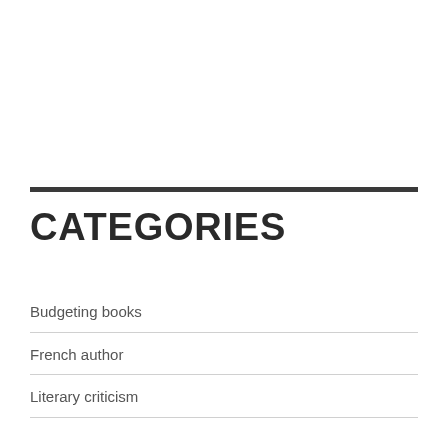CATEGORIES
Budgeting books
French author
Literary criticism